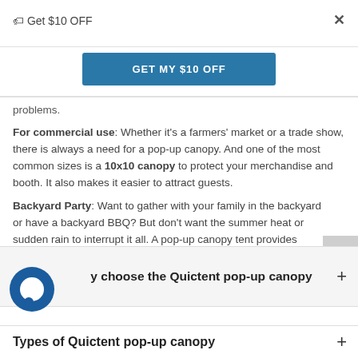🏷 Get $10 OFF
×
GET MY $10 OFF
problems.
For commercial use: Whether it's a farmers' market or a trade show, there is always a need for a pop-up canopy. And one of the most common sizes is a 10x10 canopy to protect your merchandise and booth. It also makes it easier to attract guests.
Backyard Party: Want to gather with your family in the backyard or have a backyard BBQ? But don't want the summer heat or sudden rain to interrupt it all. A pop-up canopy tent provides protection and makes you the most caring party host.
Why choose the Quictent pop-up canopy +
Types of Quictent pop-up canopy +